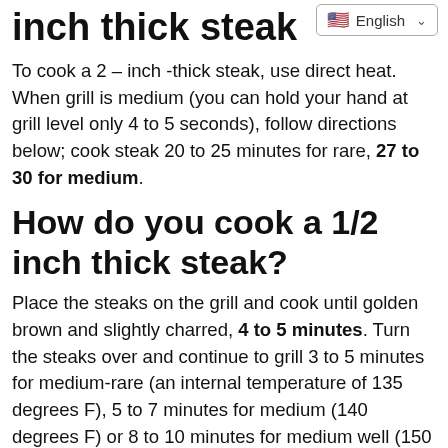inch thick steak
To cook a 2 – inch -thick steak, use direct heat. When grill is medium (you can hold your hand at grill level only 4 to 5 seconds), follow directions below; cook steak 20 to 25 minutes for rare, 27 to 30 for medium.
How do you cook a 1/2 inch thick steak?
Place the steaks on the grill and cook until golden brown and slightly charred, 4 to 5 minutes. Turn the steaks over and continue to grill 3 to 5 minutes for medium-rare (an internal temperature of 135 degrees F), 5 to 7 minutes for medium (140 degrees F) or 8 to 10 minutes for medium well (150 degrees